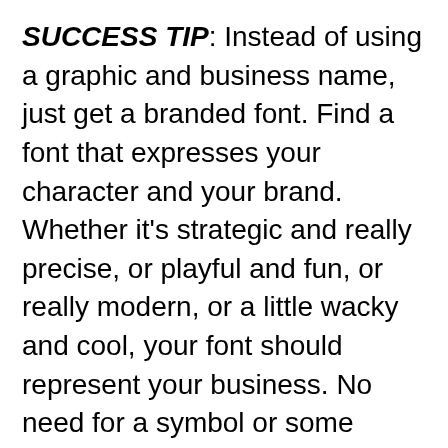SUCCESS TIP: Instead of using a graphic and business name, just get a branded font. Find a font that expresses your character and your brand. Whether it's strategic and really precise, or playful and fun, or really modern, or a little wacky and cool, your font should represent your business. No need for a symbol or some fancy design.
One key to this though, don't use italics. Italics usually look either ordinary, cheesy, or they're hard to read. If you give someone something that's hard to read, people will not